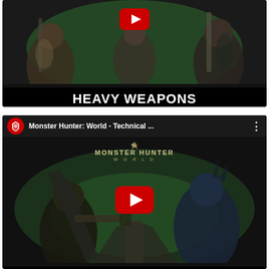[Figure (screenshot): YouTube video thumbnail for Monster Hunter: World Heavy Weapons video. Shows armored characters on a green-tinted background with 'HEAVY WEAPONS' text banner.]
[Figure (screenshot): YouTube video thumbnail for Monster Hunter: World Technical Weapons video. Shows armored characters with Monster Hunter World logo and 'TECHNICAL WEAPONS' text banner. Card includes channel icon and title bar reading 'Monster Hunter: World - Technical ...' with menu dots.]